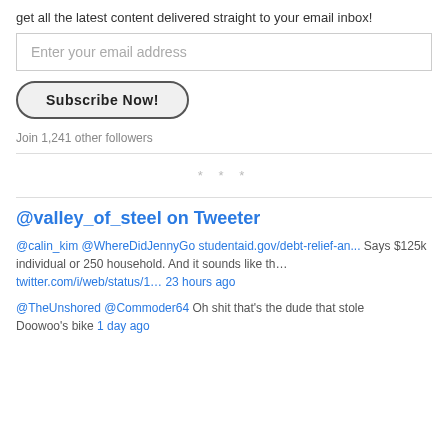get all the latest content delivered straight to your email inbox!
[Figure (other): Email input field with placeholder 'Enter your email address']
[Figure (other): Subscribe Now! button with rounded border]
Join 1,241 other followers
* * *
@valley_of_steel on Tweeter
@calin_kim @WhereDidJennyGo studentaid.gov/debt-relief-an... Says $125k individual or 250 household. And it sounds like th… twitter.com/i/web/status/1… 23 hours ago
@TheUnshored @Commoder64 Oh shit that's the dude that stole Doowoo's bike 1 day ago